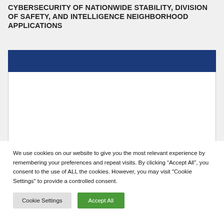CYBERSECURITY OF NATIONWIDE STABILITY, DIVISION OF SAFETY, AND INTELLIGENCE NEIGHBORHOOD APPLICATIONS
[Figure (other): Dark navy blue header bar above a white content box, representing a webpage section panel]
We use cookies on our website to give you the most relevant experience by remembering your preferences and repeat visits. By clicking “Accept All”, you consent to the use of ALL the cookies. However, you may visit "Cookie Settings" to provide a controlled consent.